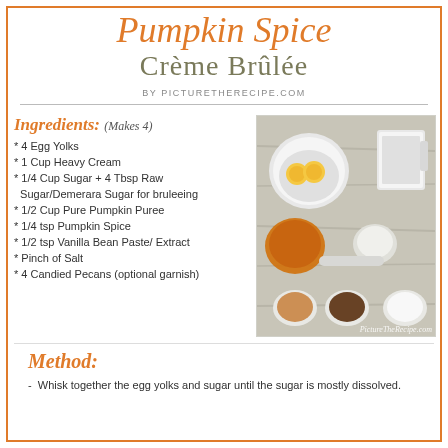Pumpkin Spice Crème Brûlée
BY PICTURETHERECIPE.COM
Ingredients: (Makes 4)
* 4 Egg Yolks
* 1 Cup Heavy Cream
* 1/4 Cup Sugar + 4 Tbsp Raw Sugar/Demerara Sugar for bruleeing
* 1/2 Cup Pure Pumpkin Puree
* 1/4 tsp Pumpkin Spice
* 1/2 tsp Vanilla Bean Paste/ Extract
* Pinch of Salt
* 4 Candied Pecans (optional garnish)
[Figure (photo): Overhead photo of ingredients: bowl with egg yolks, measuring cup with cream, bowls with pumpkin puree, sugar, pumpkin spice, vanilla extract, and salt, on a wooden surface]
Method:
- Whisk together the egg yolks and sugar until the sugar is mostly dissolved.